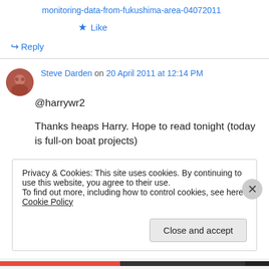monitoring-data-from-fukushima-area-04072011
★ Like
↳ Reply
Steve Darden on 20 April 2011 at 12:14 PM
@harrywr2
Thanks heaps Harry. Hope to read tonight (today is full-on boat projects)
Privacy & Cookies: This site uses cookies. By continuing to use this website, you agree to their use.
To find out more, including how to control cookies, see here: Cookie Policy
Close and accept